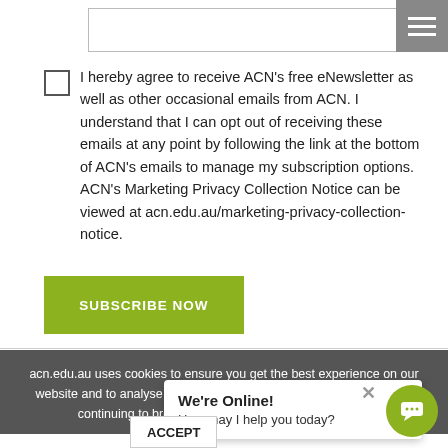[Figure (screenshot): Input text field at the top of the page]
I hereby agree to receive ACN's free eNewsletter as well as other occasional emails from ACN. I understand that I can opt out of receiving these emails at any point by following the link at the bottom of ACN's emails to manage my subscription options. ACN's Marketing Privacy Collection Notice can be viewed at acn.edu.au/marketing-privacy-collection-notice.
[Figure (screenshot): Green SUBSCRIBE NOW button]
acn.edu.au uses cookies to ensure you get the best experience on our website and to analyse our traffic. By clicking ACCEPT COOKIES or continuing to browse the website you are agreeing to
[Figure (screenshot): We're Online! chat popup with Accept Cookies button and chat icon]